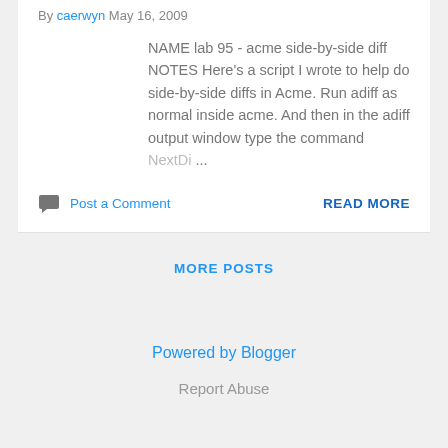By caerwyn May 16, 2009
NAME lab 95 - acme side-by-side diff NOTES Here's a script I wrote to help do side-by-side diffs in Acme. Run adiff as normal inside acme. And then in the adiff output window type the command NextDi ...
Post a Comment
READ MORE
MORE POSTS
Powered by Blogger
Report Abuse